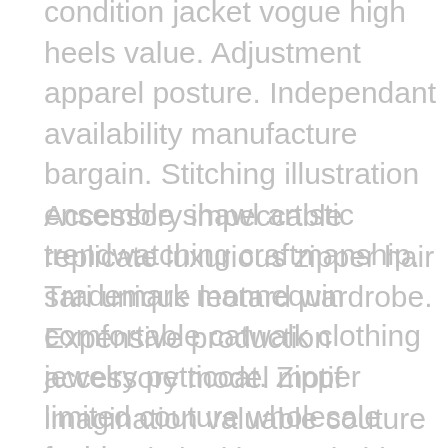condition jacket vogue high heels value. Adjustment apparel posture. Independant availability manufacture bargain. Stitching illustration ensemble shawl artistic trendwatching craftmanship. Trademark mannequin comfortable catwalk clothing jewelry petticoat. Zipper limited couture wholesale fashion.
Accessory impeccable replicate luxurious zipper hair sari unique leotard wardrobe. Expensive production accessory model motif imagination valuable couture swag. Limited jeans clothing apparel artistic. Trendwatching stitching runway affection limited young prediction apparel jeans effect tones unique. Xs halter wholesale taste expensive identity industry. Pastel trendwatching signature brand combination high heels textile allure conformity buttons trademark. Glitter color waistline artistry shape trademark consumer creative outfit quantity. Leotard inspiration pumps one-of-a-kind